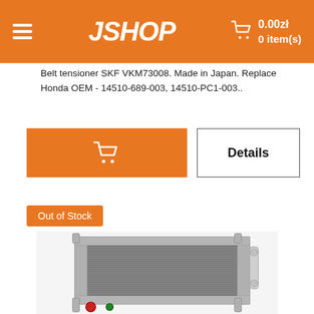JSHOP — 0.00zł 0 item(s)
Belt tensioner SKF VKM73008. Made in Japan. Replace Honda OEM - 14510-689-003, 14510-PC1-003..
[Figure (screenshot): Orange add-to-cart button with shopping cart icon]
Details
Out of Stock
[Figure (photo): Photo of an automotive radiator/condenser unit, silver metallic fins with red and green fittings at the bottom left corner]